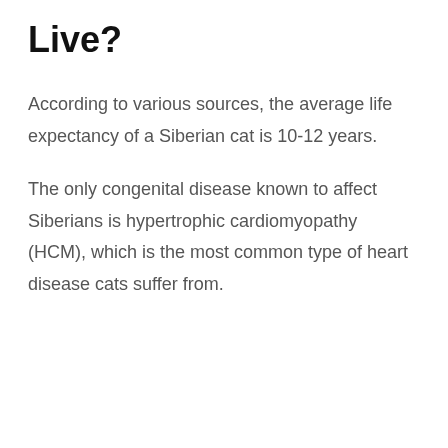Live?
According to various sources, the average life expectancy of a Siberian cat is 10-12 years.
The only congenital disease known to affect Siberians is hypertrophic cardiomyopathy (HCM), which is the most common type of heart disease cats suffer from.